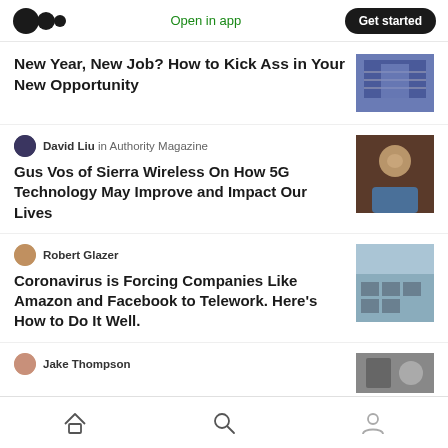Medium app header with logo, Open in app, Get started
[Figure (screenshot): Medium logo (three overlapping circles)]
New Year, New Job? How to Kick Ass in Your New Opportunity
[Figure (photo): Thumbnail image for first article - book/diagram]
David Liu in Authority Magazine
Gus Vos of Sierra Wireless On How 5G Technology May Improve and Impact Our Lives
[Figure (photo): Headshot of bald man with glasses]
Robert Glazer
Coronavirus is Forcing Companies Like Amazon and Facebook to Telework. Here’s How to Do It Well.
[Figure (photo): Office/cubicle workspace photo]
Jake Thompson
[Figure (photo): Partial thumbnail for Jake Thompson article]
Home, Search, Profile navigation icons